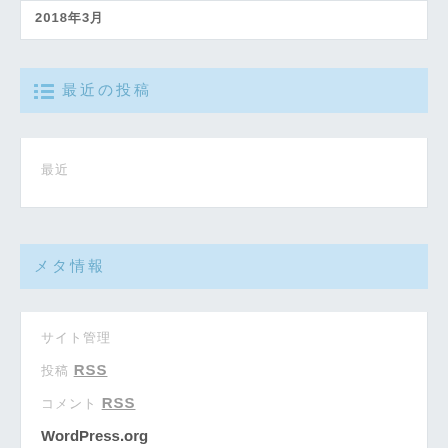2018年3月
最近の投稿
最近
メタ情報
サイト管理
投稿 RSS
コメント RSS
WordPress.org